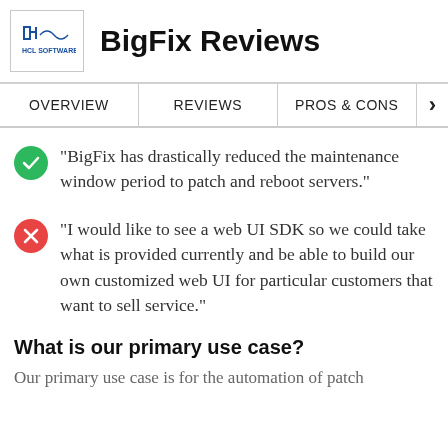BigFix Reviews
[Figure (logo): HCL Software logo]
OVERVIEW | REVIEWS | PROS & CONS
"BigFix has drastically reduced the maintenance window period to patch and reboot servers."
"I would like to see a web UI SDK so we could take what is provided currently and be able to build our own customized web UI for particular customers that want to sell service."
What is our primary use case?
Our primary use case is for the automation of patch